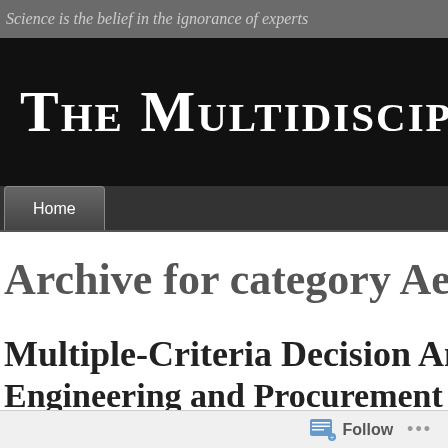Science is the belief in the ignorance of experts
The Multidisciplinarian
Home
Archive for category Aero
Multiple-Criteria Decision Analysis Engineering and Procurement of Sy
Follow ...